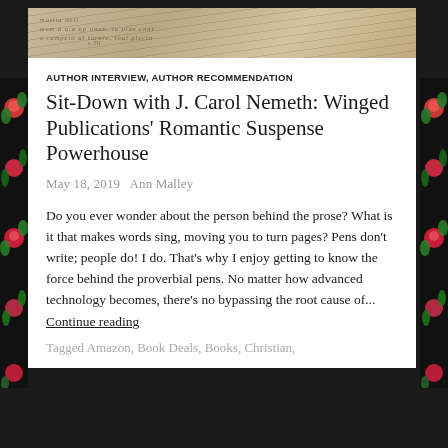[Figure (photo): Header image showing handwritten script on aged parchment/paper with a dark writing instrument visible]
AUTHOR INTERVIEW, AUTHOR RECOMMENDATION
Sit-Down with J. Carol Nemeth: Winged Publications' Romantic Suspense Powerhouse
May 18, 2019   Ann Malley
Do you ever wonder about the person behind the prose? What is it that makes words sing, moving you to turn pages? Pens don't write; people do! I do. That's why I enjoy getting to know the force behind the proverbial pens. No matter how advanced technology becomes, there's no bypassing the root cause of...
Continue reading
Tagged Amazon, Book Deals, Books, Christian,